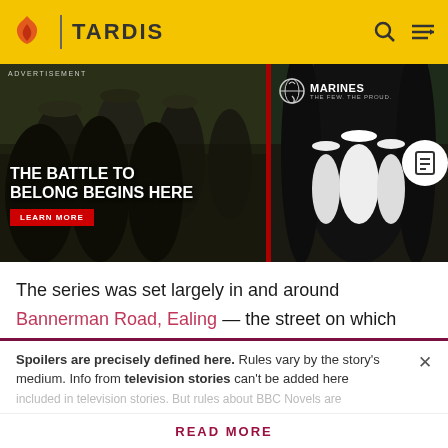TARDIS
[Figure (photo): Marines recruitment advertisement banner showing soldiers in camouflage and dress uniforms, with text 'THE BATTLE TO BELONG BEGINS HERE' and a 'LEARN MORE' button. Marines logo visible on right side.]
The series was set largely in and around Bannerman Road, Ealing — the street on which Sarah Jane lived. As shown in the initial, New Year's Day special, Sarah Jane was a somewhat wealthy and mostly reclusive eccentric. Her somewhat lavish house, car and lifestyle were paid
Spoilers are precisely defined here. Rules vary by the story's medium. Info from television stories can't be added here
READ MORE